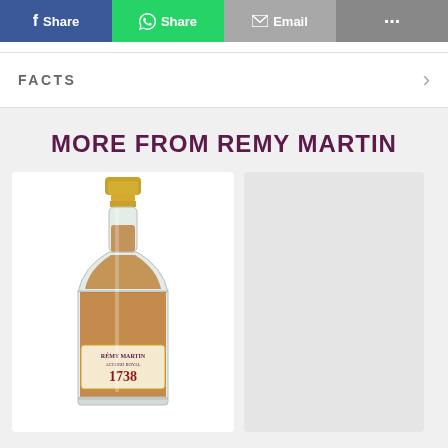[Figure (screenshot): Social share buttons row: Facebook Share (blue), WhatsApp Share (green), Email (grey), More/ellipsis (dark grey)]
FACTS
MORE FROM REMY MARTIN
[Figure (photo): Remy Martin 1738 Accord Royal cognac miniature bottle with gold cap, amber liquid, on white background]